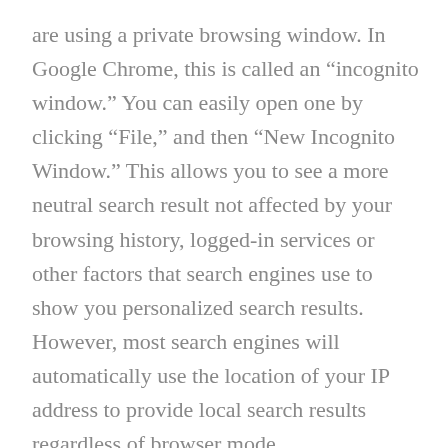are using a private browsing window. In Google Chrome, this is called an “incognito window.” You can easily open one by clicking “File,” and then “New Incognito Window.” This allows you to see a more neutral search result not affected by your browsing history, logged-in services or other factors that search engines use to show you personalized search results. However, most search engines will automatically use the location of your IP address to provide local search results regardless of browser mode.

Don’t fret! You CAN build an online identity